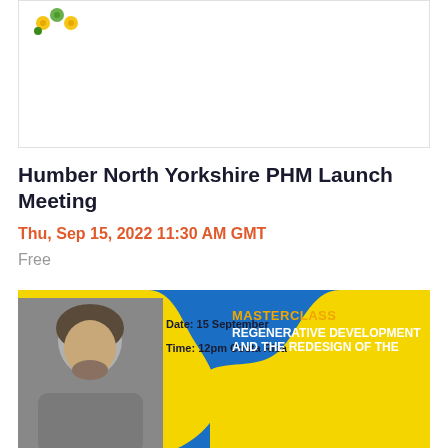[Figure (logo): Colorful dot cluster logo in top left of card]
Humber North Yorkshire PHM Launch Meeting
Thu, Sep 15, 2022 11:30 AM GMT
Free
[Figure (illustration): Blue and yellow masterclass event banner with person photo, showing Date: 15 September, Time: 12pm Costa Rica, MASTERCLASS REGENERATIVE DEVELOPMENT AND THE REDESIGN OF THE...]